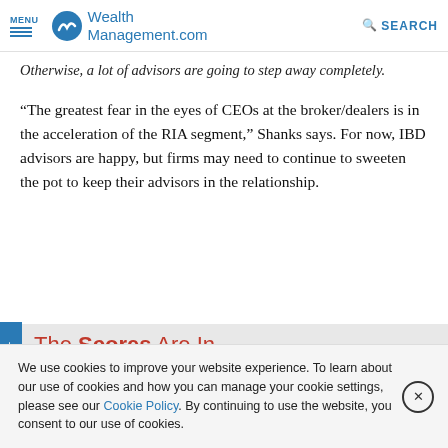MENU | WealthManagement.com | SEARCH
Otherwise, a lot of advisors are going to step away completely.
“The greatest fear in the eyes of CEOs at the broker/dealers is in the acceleration of the RIA segment,” Shanks says. For now, IBD advisors are happy, but firms may need to continue to sweeten the pot to keep their advisors in the relationship.
The Scores Are In
Most firms received very high marks from their
We use cookies to improve your website experience. To learn about our use of cookies and how you can manage your cookie settings, please see our Cookie Policy. By continuing to use the website, you consent to our use of cookies.